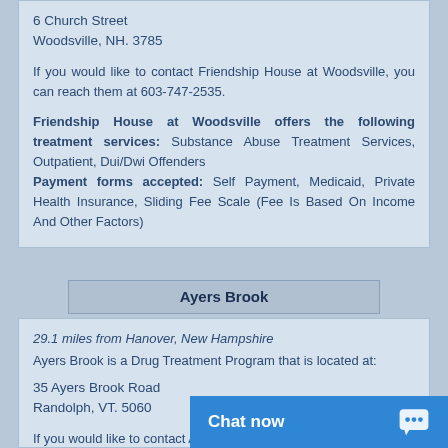6 Church Street
Woodsville, NH. 3785
If you would like to contact Friendship House at Woodsville, you can reach them at 603-747-2535.
Friendship House at Woodsville offers the following treatment services: Substance Abuse Treatment Services, Outpatient, Dui/Dwi Offenders
Payment forms accepted: Self Payment, Medicaid, Private Health Insurance, Sliding Fee Scale (Fee Is Based On Income And Other Factors)
Ayers Brook
29.1 miles from Hanover, New Hampshire
Ayers Brook is a Drug Treatment Program that is located at:
35 Ayers Brook Road
Randolph, VT. 5060
If you would like to contact Ayers Brook, you can reach them at 802-728-4466.
Ayers Brook offers